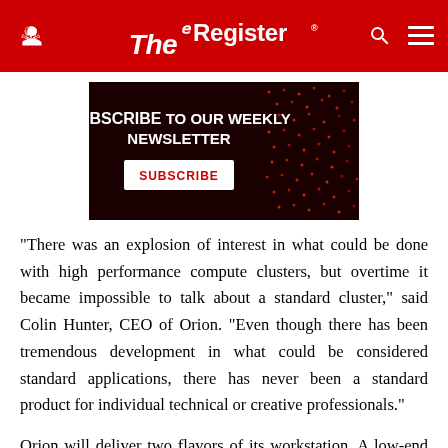The Register
[Figure (other): Advertisement banner: dark red background with glowing dot-matrix pattern. Text reads 'SUBSCRIBE TO OUR WEEKLY NEWSLETTER' with a white 'SUBSCRIBE' button.]
"There was an explosion of interest in what could be done with high performance compute clusters, but overtime it became impossible to talk about a standard cluster," said Colin Hunter, CEO of Orion. "Even though there has been tremendous development in what could be considered standard applications, there has never been a standard product for individual technical or creative professionals."
Orion will deliver two flavors of its workstation. A low-end system - shipping Oct. 1 - will have 12 processors,